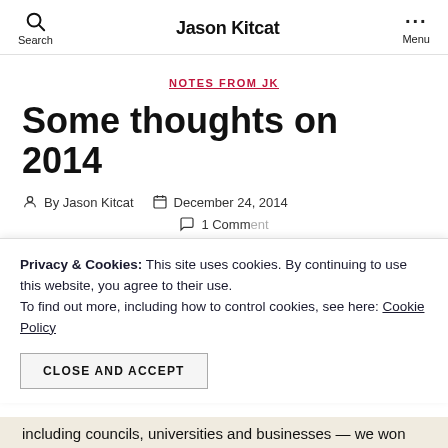Jason Kitcat
NOTES FROM JK
Some thoughts on 2014
By Jason Kitcat  December 24, 2014
1 Comment
Privacy & Cookies: This site uses cookies. By continuing to use this website, you agree to their use. To find out more, including how to control cookies, see here: Cookie Policy
CLOSE AND ACCEPT
including councils, universities and businesses — we won